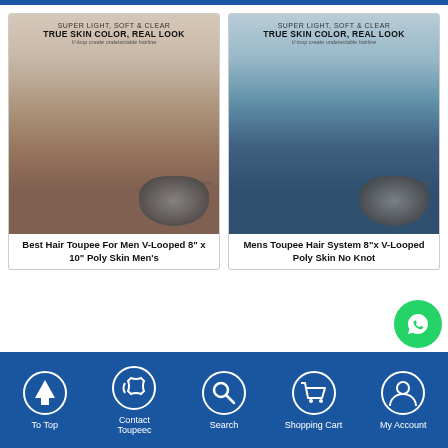[Figure (photo): Product photo of hair toupee for men, left product card - man with styled hair and toupee piece shown, text overlay: SUPER LIGHT, SOFT & CLEAR / TRUE SKIN COLOR, REAL LOOK / V-loop create undetectable hairline / Ultra-thin skin]
Best Hair Toupee For Men V-Looped 8" x 10" Poly Skin Men's
[Figure (photo): Product photo of hair toupee for men, right product card - man with styled hair and toupee piece shown, text overlay: SUPER LIGHT, SOFT & CLEAR / TRUE SKIN COLOR, REAL LOOK / V-loop create undetectable hairline / Ultra-thin skin]
Mens Toupee Hair System 8"x V-Looped Poly Skin No Knot
[Figure (screenshot): WhatsApp contact bubble icon, green circle with phone handset]
To Top | Contact Toupeec | Search | Shopping Cart | My Account